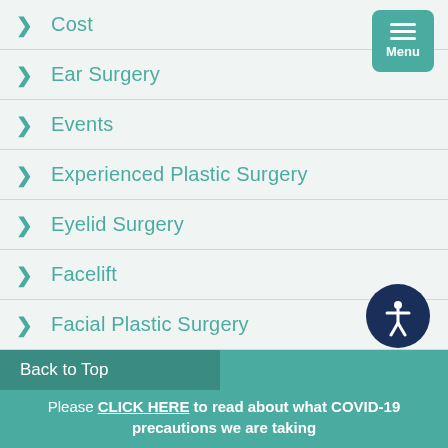Cost
Ear Surgery
Events
Experienced Plastic Surgery
Eyelid Surgery
Facelift
Facial Plastic Surgery
Facial Rejuvenation
Fat Transfer
Back to Top
Please CLICK HERE to read about what COVID-19 precautions we are taking